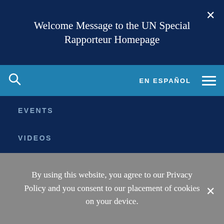Welcome Message to the UN Special Rapporteur Homepage
[Figure (screenshot): Website navigation bar with search icon, EN ESPAÑOL text, and hamburger menu icon on teal background]
EVENTS
VIDEOS
[Figure (screenshot): Social media icons row: search icon and Twitter bird icon on dark navy background]
By using this website, you agree to our Privacy Policy and you consent to our placement of cookies on your device.